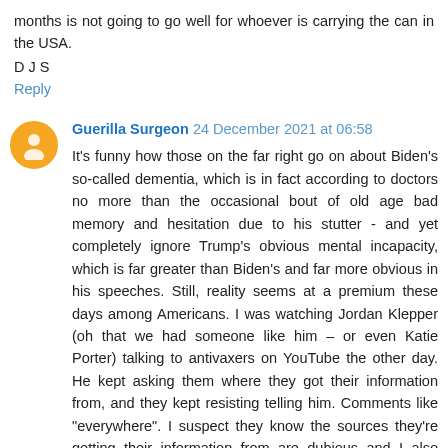months is not going to go well for whoever is carrying the can in the USA.
D J S
Reply
Guerilla Surgeon 24 December 2021 at 06:58
It's funny how those on the far right go on about Biden's so-called dementia, which is in fact according to doctors no more than the occasional bout of old age bad memory and hesitation due to his stutter - and yet completely ignore Trump's obvious mental incapacity, which is far greater than Biden's and far more obvious in his speeches. Still, reality seems at a premium these days among Americans. I was watching Jordan Klepper (oh that we had someone like him – or even Katie Porter) talking to antivaxers on YouTube the other day. He kept asking them where they got their information from, and they kept resisting telling him. Comments like "everywhere". I suspect they know the sources they're getting their information from are dubious and I also suspect that they are deliberately seeking out